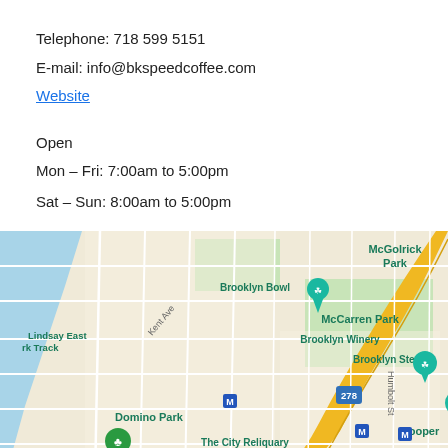Telephone: 718 599 5151
E-mail: info@bkspeedcoffee.com
Website
Open
Mon – Fri: 7:00am to 5:00pm
Sat – Sun: 8:00am to 5:00pm
[Figure (map): Google Maps view of the Williamsburg/Greenpoint area of Brooklyn, NY, showing landmarks including Brooklyn Bowl, McCarren Park, Brooklyn Winery, Brooklyn Steel, Domino Park, The City Reliquary, McGolrick Park, Lindsay East Park Track, and Cooper. Streets and the BQE (278) highway are visible.]